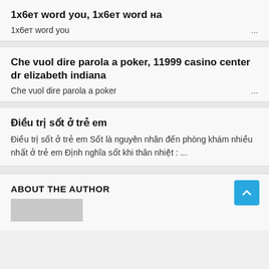1x6eт word you, 1x6eт word нa
1x6eт word you ...
Che vuol dire parola a poker, 11999 casino center dr elizabeth indiana
Che vuol dire parola a poker ...
Điều trị sốt ở trẻ em
Điều trị sốt ở trẻ em Sốt là nguyên nhân đến phòng khám nhiều nhất ở trẻ em Định nghĩa sốt khi thân nhiệt : ...
ABOUT THE AUTHOR